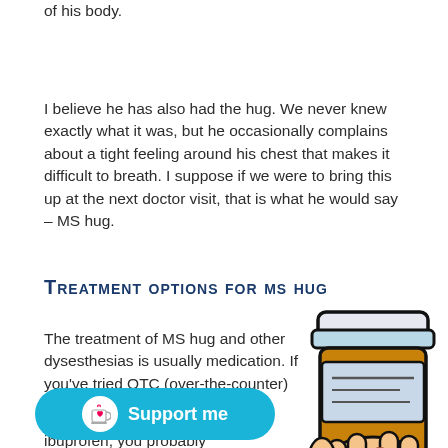of his body.
I believe he has also had the hug. We never knew exactly what it was, but he occasionally complains about a tight feeling around his chest that makes it difficult to breath. I suppose if we were to bring this up at the next doctor visit, that is what he would say – MS hug.
Treatment options for ms hug
The treatment of MS hug and other dysesthesias is usually medication. If you've tried OTC (over-the-counter) pain medications like aspirin,
[Figure (illustration): Cartoon/clip-art illustration of a hand holding an orange prescription medicine bottle with a light blue/lavender label and white cap.]
ibuprofen, you probably